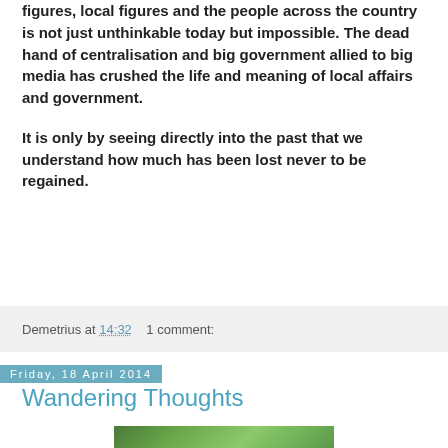figures, local figures and the people across the country is not just unthinkable today but impossible. The dead hand of centralisation and big government allied to big media has crushed the life and meaning of local affairs and government.
It is only by seeing directly into the past that we understand how much has been lost never to be regained.
Demetrius at 14:32    1 comment:
Friday, 18 April 2014
Wandering Thoughts
[Figure (photo): Partial view of a nature/outdoor photograph at the bottom of the page]